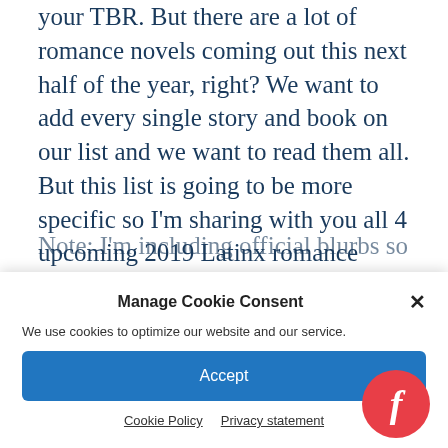your TBR. But there are a lot of romance novels coming out this next half of the year, right? We want to add every single story and book on our list and we want to read them all. But this list is going to be more specific so I'm sharing with you all 4 upcoming 2019 Latinx romance novels that I'm most excited about.
Note: I'm including official blurbs so you get a
Manage Cookie Consent
We use cookies to optimize our website and our service.
Accept
Cookie Policy   Privacy statement